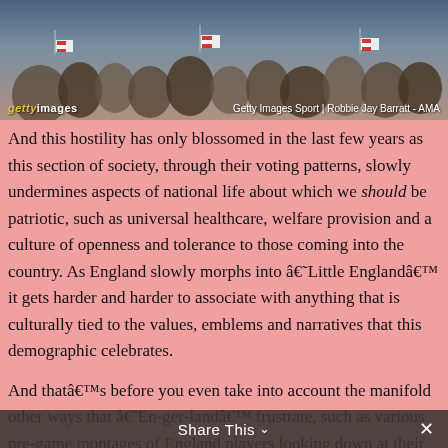[Figure (photo): Crowd of England football fans waving flags, with Getty Images Sport watermark and photographer credit: Robbie Jay Barratt - AMA]
And this hostility has only blossomed in the last few years as this section of society, through their voting patterns, slowly undermines aspects of national life about which we should be patriotic, such as universal healthcare, welfare provision and a culture of openness and tolerance to those coming into the country. As England slowly morphs into â€˜Little Englandâ€™ it gets harder and harder to associate with anything that is culturally tied to the values, emblems and narratives that this demographic celebrates.
And thatâ€™s before you even take into account the manifold other ways that â€˜En-ger-landâ€™ frustrate, such as various pre-game montages of England players looking down at their chests, then looking up as they
Share This